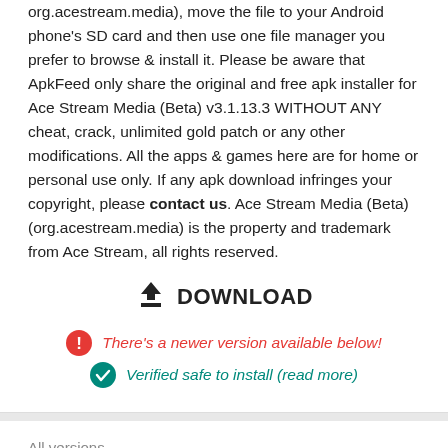org.acestream.media), move the file to your Android phone's SD card and then use one file manager you prefer to browse & install it. Please be aware that ApkFeed only share the original and free apk installer for Ace Stream Media (Beta) v3.1.13.3 WITHOUT ANY cheat, crack, unlimited gold patch or any other modifications. All the apps & games here are for home or personal use only. If any apk download infringes your copyright, please contact us. Ace Stream Media (Beta) (org.acestream.media) is the property and trademark from Ace Stream, all rights reserved.
[Figure (other): Download button with downward arrow icon and text DOWNLOAD]
There's a newer version available below!
Verified safe to install (read more)
All versions
Ace Stream Media (Beta) 3.1.19.1